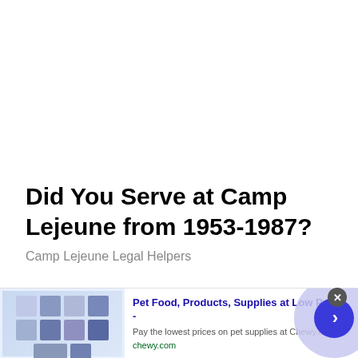Did You Serve at Camp Lejeune from 1953-1987?
Camp Lejeune Legal Helpers
[Figure (screenshot): Advertisement banner for Chewy.com showing pet food products thumbnail images on the left, bold blue ad headline text, description, and green URL. A circular blue arrow button overlay appears on the right side.]